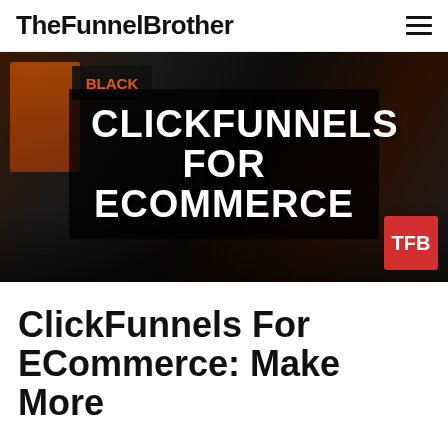TheFunnelBrother
[Figure (photo): Hero image with dark background showing a person holding a smartphone near a retail display with 'BLACK' text. Overlaid dark banner with bold white text reading 'CLICKFUNNELS FOR ECOMMERCE' and a red TFB badge in the bottom right corner.]
ClickFunnels For ECommerce: Make More